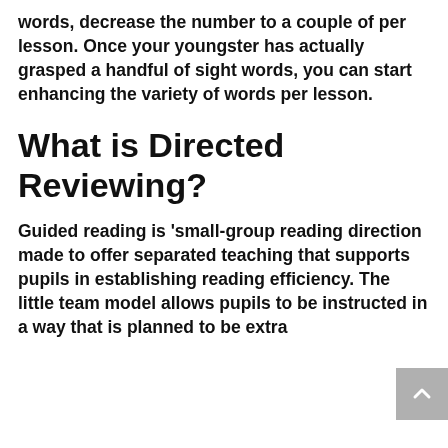words, decrease the number to a couple of per lesson. Once your youngster has actually grasped a handful of sight words, you can start enhancing the variety of words per lesson.
What is Directed Reviewing?
Guided reading is 'small-group reading direction made to offer separated teaching that supports pupils in establishing reading efficiency. The little team model allows pupils to be instructed in a way that is planned to be extra